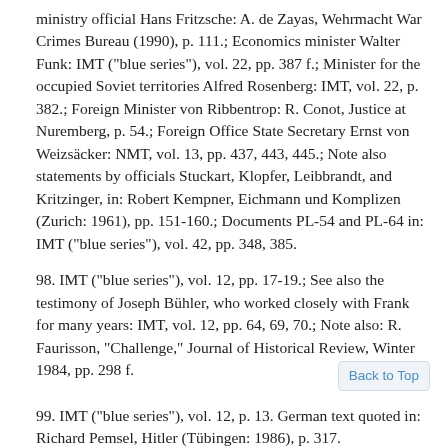ministry official Hans Fritzsche: A. de Zayas, Wehrmacht War Crimes Bureau (1990), p. 111.; Economics minister Walter Funk: IMT ("blue series"), vol. 22, pp. 387 f.; Minister for the occupied Soviet territories Alfred Rosenberg: IMT, vol. 22, p. 382.; Foreign Minister von Ribbentrop: R. Conot, Justice at Nuremberg, p. 54.; Foreign Office State Secretary Ernst von Weizsäcker: NMT, vol. 13, pp. 437, 443, 445.; Note also statements by officials Stuckart, Klopfer, Leibbrandt, and Kritzinger, in: Robert Kempner, Eichmann und Komplizen (Zurich: 1961), pp. 151-160.; Documents PL-54 and PL-64 in: IMT ("blue series"), vol. 42, pp. 348, 385.
98. IMT ("blue series"), vol. 12, pp. 17-19.; See also the testimony of Joseph Bühler, who worked closely with Frank for many years: IMT, vol. 12, pp. 64, 69, 70.; Note also: R. Faurisson, "Challenge," Journal of Historical Review, Winter 1984, pp. 298 f.
99. IMT ("blue series"), vol. 12, p. 13. German text quoted in: Richard Pemsel, Hitler (Tübingen: 1986), p. 317.